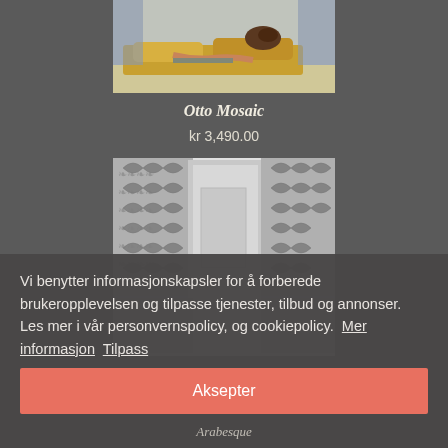[Figure (photo): Top product photo of Otto Mosaic showing a room scene with yellow/gold cushions and decorative elements]
Otto Mosaic
kr 3,490.00
[Figure (photo): Second product photo showing Arabesque patterned wallpaper with black and white damask design on walls with a doorway]
Vi benytter informasjonskapsler for å forberede brukeropplevelsen og tilpasse tjenester, tilbud og annonser. Les mer i vår personvernspolicy, og cookiepolicy.  Mer informasjon  Tilpass
Aksepter
Arabesque